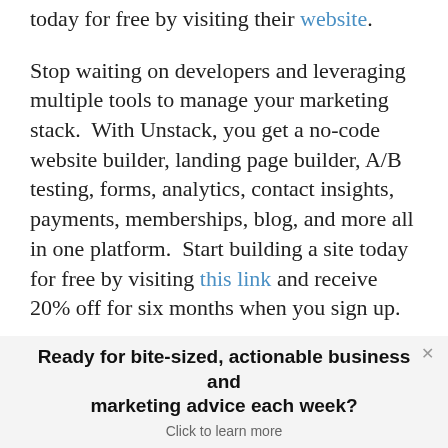today for free by visiting their website.
Stop waiting on developers and leveraging multiple tools to manage your marketing stack.  With Unstack, you get a no-code website builder, landing page builder, A/B testing, forms, analytics, contact insights, payments, memberships, blog, and more all in one platform.  Start building a site today for free by visiting this link and receive 20% off for six months when you sign up.
Ready for bite-sized, actionable business and marketing advice each week?
Click to learn more